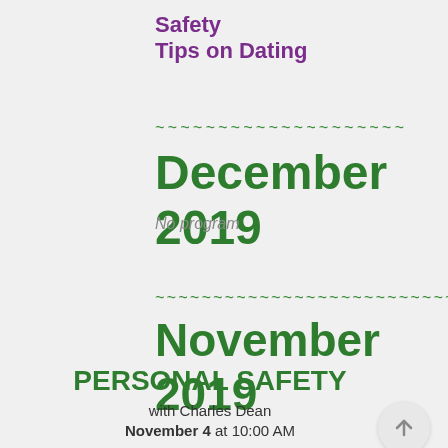Safety
Tips on Dating
December 2019
No program
November 2019
PERSONAL SAFETY
with Charles Dean
November 4 at 10:00 AM
Come and enjoy a cup of coffee and learn important tips on personal safety.